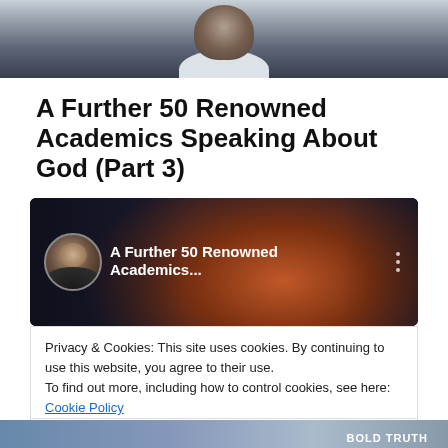[Figure (photo): Top portion of a photo showing a person (head and shoulders), partially cropped at the top of the page]
A Further 50 Renowned Academics Speaking About God (Part 3)
[Figure (screenshot): YouTube video thumbnail showing 'A Further 50 Renowned Academics...' with a circular avatar of a person on the left, video title text, and three-dot menu icon on a dark background]
Privacy & Cookies: This site uses cookies. By continuing to use this website, you agree to their use.
To find out more, including how to control cookies, see here: Cookie Policy
Close and accept
[Figure (photo): Bottom portion of another photo, partially visible at the bottom of the page]